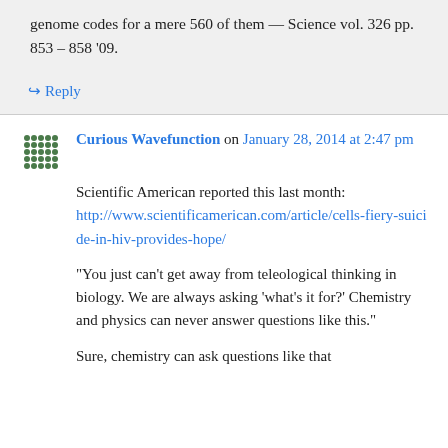genome codes for a mere 560 of them — Science vol. 326 pp. 853 – 858 '09.
↳ Reply
Curious Wavefunction on January 28, 2014 at 2:47 pm
Scientific American reported this last month: http://www.scientificamerican.com/article/cells-fiery-suicide-in-hiv-provides-hope/
“You just can’t get away from teleological thinking in biology. We are always asking ‘what’s it for?’ Chemistry and physics can never answer questions like this.”
Sure, chemistry can ask questions like that